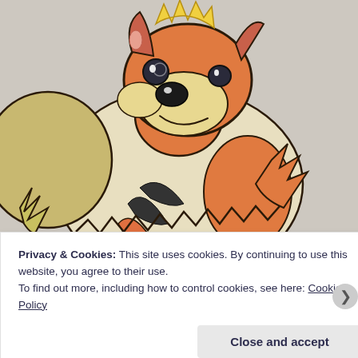[Figure (illustration): A hand-drawn colored pencil illustration of Growlithe (a Pokemon character) — an orange and cream dog/bear-like creature with yellow spiky hair on top of its head, dark nose, black eyes, fluffy cream-colored chest fur, orange and black striped body, and zigzag-edged tail. Drawn on white paper with a light purple/blue background.]
Privacy & Cookies: This site uses cookies. By continuing to use this website, you agree to their use.
To find out more, including how to control cookies, see here: Cookie Policy
Close and accept